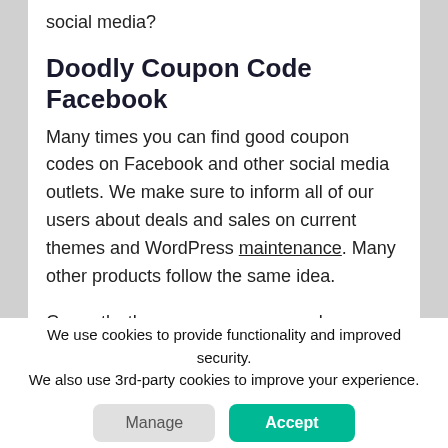social media?
Doodly Coupon Code Facebook
Many times you can find good coupon codes on Facebook and other social media outlets. We make sure to inform all of our users about deals and sales on current themes and WordPress maintenance. Many other products follow the same idea.
Currently, there are no coupon codes on Facebook or Twitter. We regularly check so that we can bring the codes to all of our readers. As
We use cookies to provide functionality and improved security. We also use 3rd-party cookies to improve your experience.
Manage
Accept